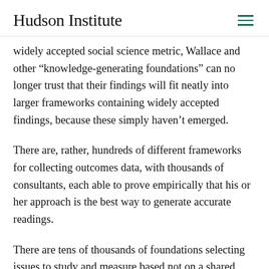Hudson Institute
widely accepted social science metric, Wallace and other “knowledge-generating foundations” can no longer trust that their findings will fit neatly into larger frameworks containing widely accepted findings, because these simply haven’t emerged.
There are, rather, hundreds of different frameworks for collecting outcomes data, with thousands of consultants, each able to prove empirically that his or her approach is the best way to generate accurate readings.
There are tens of thousands of foundations selecting issues to study and measure based not on a shared